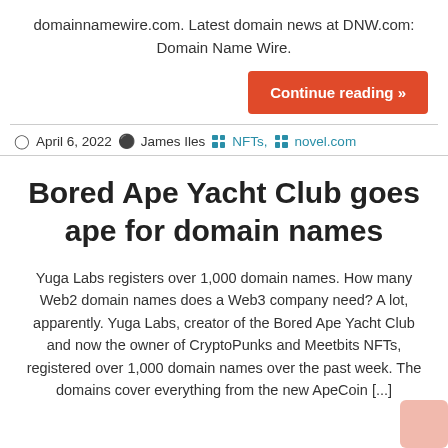domainnamewire.com. Latest domain news at DNW.com: Domain Name Wire.
Continue reading »
April 6, 2022  James Iles  NFTs,  novel.com
Bored Ape Yacht Club goes ape for domain names
Yuga Labs registers over 1,000 domain names. How many Web2 domain names does a Web3 company need? A lot, apparently. Yuga Labs, creator of the Bored Ape Yacht Club and now the owner of CryptoPunks and Meetbits NFTs, registered over 1,000 domain names over the past week. The domains cover everything from the new ApeCoin [...]